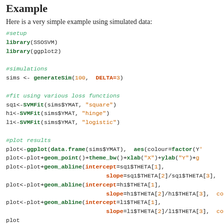Example
Here is a very simple example using simulated data:
#setup
library(SSOSVM)
library(ggplot2)

#simulations
sims <- generateSim(100, DELTA=3)

#fit using various loss functions
sq1<-SVMFit(sims$YMAT, "square")
h1<-SVMFit(sims$YMAT, "hinge")
l1<-SVMFit(sims$YMAT, "logistic")

#plot results
plot<-ggplot(data.frame(sims$YMAT), aes(colour=factor(Y
plot<-plot+geom_point()+theme_bw()+xlab("X")+ylab("Y")+g
plot<-plot+geom_abline(intercept=sq1$THETA[1],
                             slope=sq1$THETA[2]/sq1$THETA[3],
plot<-plot+geom_abline(intercept=h1$THETA[1],
                             slope=h1$THETA[2]/h1$THETA[3], co
plot<-plot+geom_abline(intercept=l1$THETA[1],
                             slope=l1$THETA[2]/l1$THETA[3], co
plot
[Figure (illustration): Small image placeholder icon (landscape image icon)]